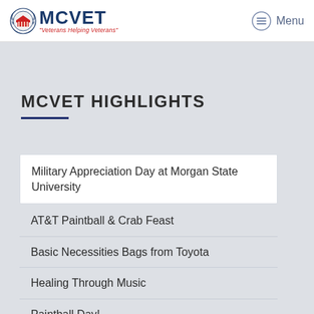[Figure (logo): MCVET logo with circular emblem and text 'Veterans Helping Veterans']
MCVET HIGHLIGHTS
Military Appreciation Day at Morgan State University
AT&T Paintball & Crab Feast
Basic Necessities Bags from Toyota
Healing Through Music
Paintball Day!
VIP Treatment for Homeless Veterans at MCVET